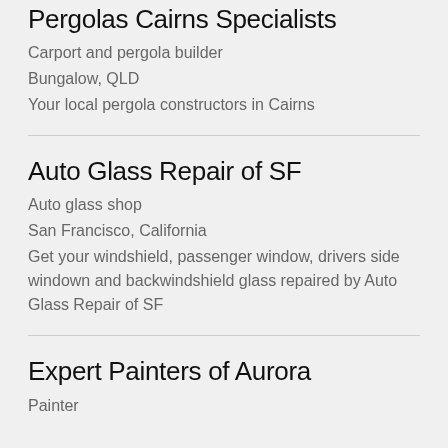Pergolas Cairns Specialists
Carport and pergola builder
Bungalow, QLD
Your local pergola constructors in Cairns
Auto Glass Repair of SF
Auto glass shop
San Francisco, California
Get your windshield, passenger window, drivers side windown and backwindshield glass repaired by Auto Glass Repair of SF
Expert Painters of Aurora
Painter